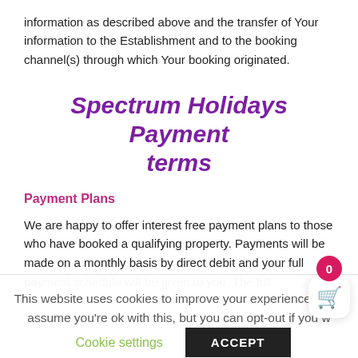information as described above and the transfer of Your information to the Establishment and to the booking channel(s) through which Your booking originated.
Spectrum Holidays Payment terms
Payment Plans
We are happy to offer interest free payment plans to those who have booked a qualifying property. Payments will be made on a monthly basis by direct debit and your full payment schedule will be given to you. The full balance for your holiday must be paid 4 weeks before the
This website uses cookies to improve your experience. We'll assume you're ok with this, but you can opt-out if you w
Cookie settings      ACCEPT